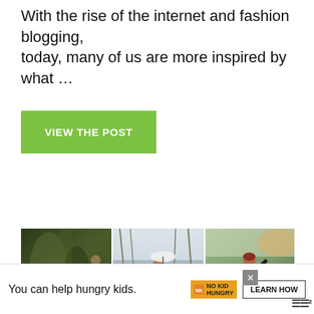With the rise of the internet and fashion blogging, today, many of us are more inspired by what …
VIEW THE POST
[Figure (photo): Three fashion photography images side by side: left shows a person among tree bark/lichen, center shows a woman in a dark top and patterned skirt holding an umbrella among bare trees, right shows a woman in a dark dress in a sunny outdoor setting.]
You can help hungry kids.  NO KID HUNGRY  LEARN HOW